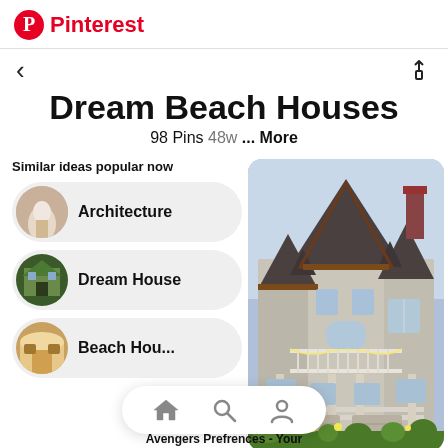Pinterest
Dream Beach Houses
98 Pins 48w ... More
Similar ideas popular now
Architecture
Dream House
Beach Hou...
[Figure (photo): Large Victorian-style beach house with multiple gabled roofs, wraparound porch, bay windows, and lush landscaping]
Avengers Prefrences - Your